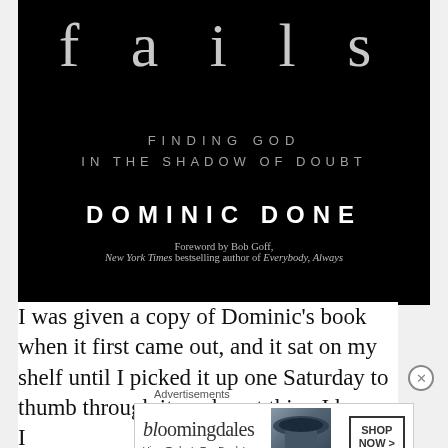[Figure (photo): Book cover on black background showing large spaced serif text 'fails', subtitle 'FINDING GOD IN THE SHADOW OF DOUBT', author 'DOMINIC DONE', and foreword credit 'Foreword by Bob Goff, New York Times bestselling author of Everybody, Always']
I was given a copy of Dominic's book when it first came out, and it sat on my shelf until I picked it up one Saturday to thumb through it, and next thing I knew I
Advertisements
[Figure (screenshot): Bloomingdale's advertisement banner: logo 'bloomingdales', tagline 'View Today's Top Deals!', image of woman in hat, button 'SHOP NOW >']